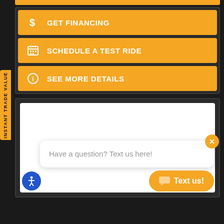INSTANT TRADE VALUE
GET FINANCING
SCHEDULE A TEST RIDE
SEE MORE DETAILS
Have a question? Text us here!
Text us!